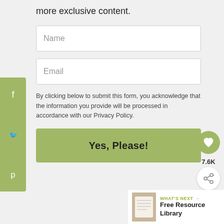more exclusive content.
Name
Email
By clicking below to submit this form, you acknowledge that the information you provide will be processed in accordance with our Privacy Policy.
Yes, Please!
7.6K
WHAT'S NEXT → Free Resource Library